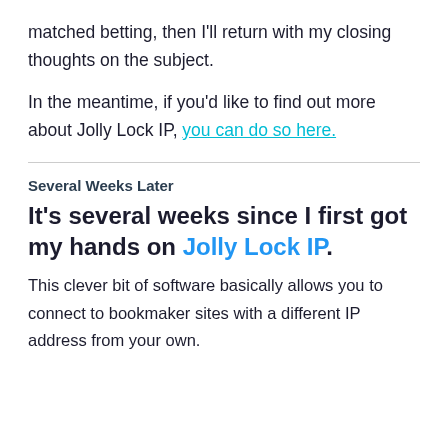matched betting, then I'll return with my closing thoughts on the subject.
In the meantime, if you'd like to find out more about Jolly Lock IP, you can do so here.
Several Weeks Later
It's several weeks since I first got my hands on Jolly Lock IP.
This clever bit of software basically allows you to connect to bookmaker sites with a different IP address from your own.